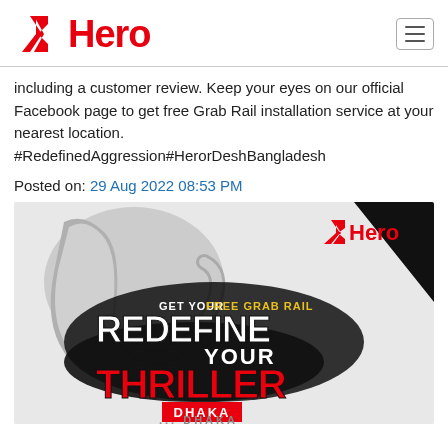Hero
including a customer review. Keep your eyes on our official Facebook page to get free Grab Rail installation service at your nearest location. #RedefinedAggression#HerorDeshBangladesh
Posted on: 29 Aug 2022 08:53 PM
[Figure (illustration): Hero MotoCorp promotional banner showing a motorcycle grab rail component with large stylized text: 'GET YOUR FREE GRAB RAIL - REDEFINE YOUR THRILLER - DHAKA'. Hero logo in top right corner of the banner.]